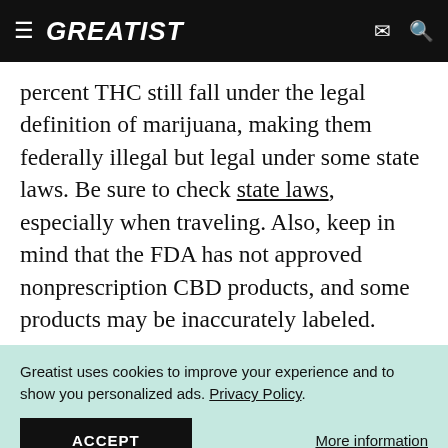GREATIST
percent THC still fall under the legal definition of marijuana, making them federally illegal but legal under some state laws. Be sure to check state laws, especially when traveling. Also, keep in mind that the FDA has not approved nonprescription CBD products, and some products may be inaccurately labeled.
Greatist uses cookies to improve your experience and to show you personalized ads. Privacy Policy.
ACCEPT
More information
ADVERTISEMENT
[Figure (screenshot): Advertisement banner: Let's be friends with (health) benefits. Follow GREATIST on Instagram. FOLLOW US button.]